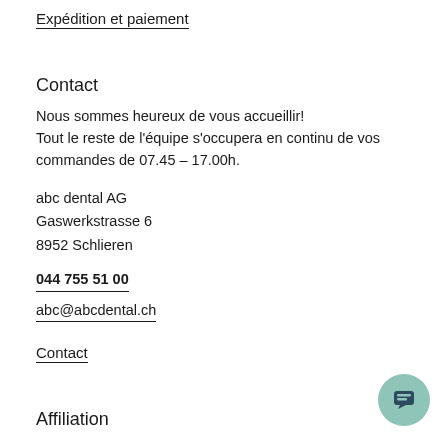Expédition et paiement
Contact
Nous sommes heureux de vous accueillir!
Tout le reste de l'équipe s'occupera en continu de vos commandes de 07.45 – 17.00h.
abc dental AG
Gaswerkstrasse 6
8952 Schlieren
044 755 51 00
abc@abcdental.ch
Contact
Affiliation
[Figure (logo): Partial logo visible at bottom left — orange arch shape and pink/salmon rectangle]